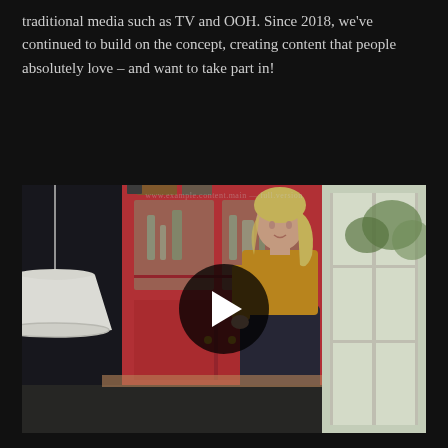traditional media such as TV and OOH. Since 2018, we've continued to build on the concept, creating content that people absolutely love – and want to take part in!
[Figure (photo): Video thumbnail showing a blonde woman in a yellow top and dark skirt standing beside a red cabinet in a stylishly decorated room with a white pendant lamp and window. A large semi-transparent circular play button overlay is centered on the image. Faint text appears at the top of the video frame.]